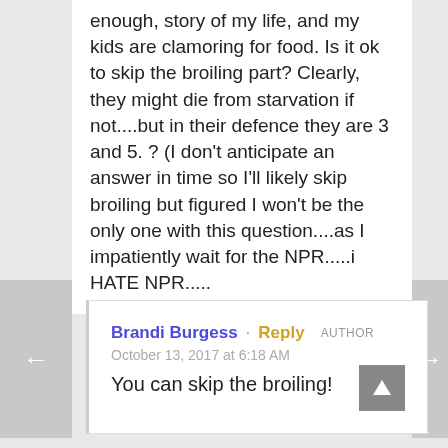enough, story of my life, and my kids are clamoring for food. Is it ok to skip the broiling part? Clearly, they might die from starvation if not....but in their defence they are 3 and 5. ? (I don't anticipate an answer in time so I'll likely skip broiling but figured I won't be the only one with this question....as I impatiently wait for the NPR.....i HATE NPR.....
Brandi Burgess · Reply  AUTHOR
October 13, 2017 at 6:18 AM
You can skip the broiling!